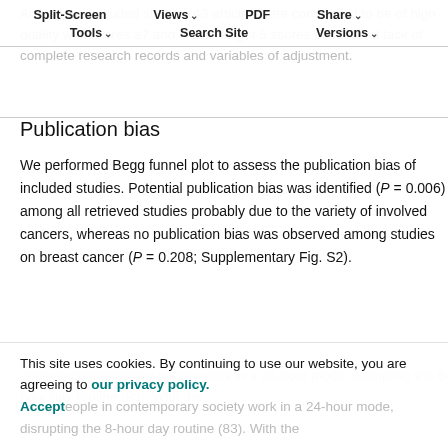Among the included studies, 43 articles were considered to be of high quality with scores ≥7 and 8 studies got 5 scores because of lack of complete research records and variables of adjustment.
Split-Screen | Views | PDF | Share | Tools | Search Site | Versions
Publication bias
We performed Begg funnel plot to assess the publication bias of included studies. Potential publication bias was identified (P = 0.006) among all retrieved studies probably due to the variety of involved cancers, whereas no publication bias was observed among studies on breast cancer (P = 0.208; Supplementary Fig. S2).
This site uses cookies. By continuing to use our website, you are agreeing to our privacy policy. Accept
eople in contemporary society work in a 24-hour mode, disrupting the 8-hour day routine (83). With the